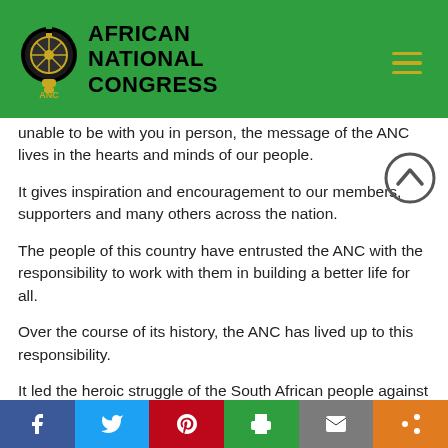[Figure (logo): African National Congress logo with ANC emblem and text 'AFRICAN NATIONAL CONGRESS']
unable to be with you in person, the message of the ANC lives in the hearts and minds of our people.
It gives inspiration and encouragement to our members, supporters and many others across the nation.
The people of this country have entrusted the ANC with the responsibility to work with them in building a better life for all.
Over the course of its history, the ANC has lived up to this responsibility.
It led the heroic struggle of the South African people against apartheid, resulting in the co... ad...
[Figure (other): Social media share bar with Facebook, Twitter, Pinterest, Print, Email, and Share buttons]